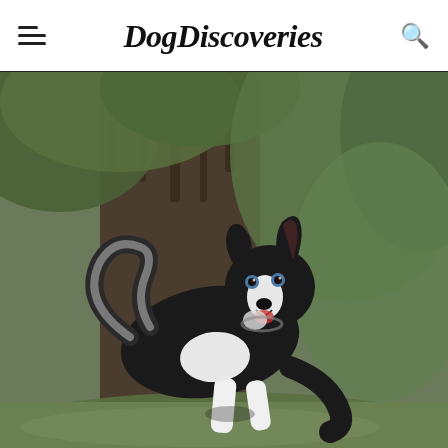DogDiscoveries
[Figure (photo): A black and white Border Collie running outdoors in a park setting. The dog is mid-stride, facing the camera, with its mouth open. Background shows a large tree trunk and green foliage in soft focus.]